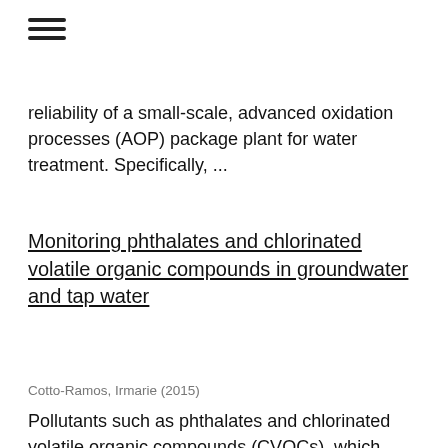☰
reliability of a small-scale, advanced oxidation processes (AOP) package plant for water treatment. Specifically, ...
Monitoring phthalates and chlorinated volatile organic compounds in groundwater and tap water
Cotto-Ramos, Irmarie (2015)
Pollutants such as phthalates and chlorinated volatile organic compounds (CVOCs), which threaten the public health and the environment, have to be monitored and analyzed to minimize their exposure. Phthalates and